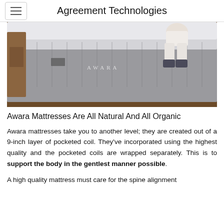Agreement Technologies
[Figure (photo): Person sitting on an Awara brand mattress on a wooden bed frame, wearing white pants and dark socks. The gray mattress has the AWARA logo visible on its side.]
Awara Mattresses Are All Natural And All Organic
Awara mattresses take you to another level; they are created out of a 9-inch layer of pocketed coil. They've incorporated using the highest quality and the pocketed coils are wrapped separately. This is to support the body in the gentlest manner possible.
A high quality mattress must care for the spine alignment